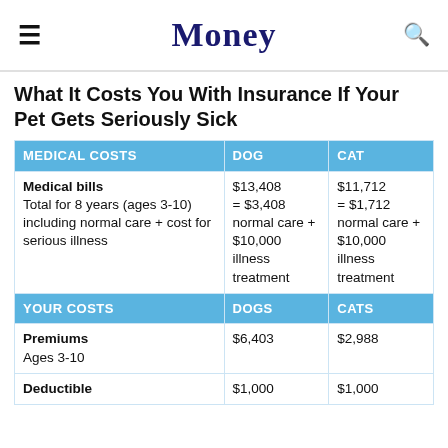Money
What It Costs You With Insurance If Your Pet Gets Seriously Sick
| MEDICAL COSTS | DOG | CAT |
| --- | --- | --- |
| Medical bills
Total for 8 years (ages 3-10) including normal care + cost for serious illness | $13,408
= $3,408 normal care + $10,000 illness treatment | $11,712
= $1,712 normal care + $10,000 illness treatment |
| YOUR COSTS | DOGS | CATS |
| Premiums
Ages 3-10 | $6,403 | $2,988 |
| Deductible | $1,000 | $1,000 |